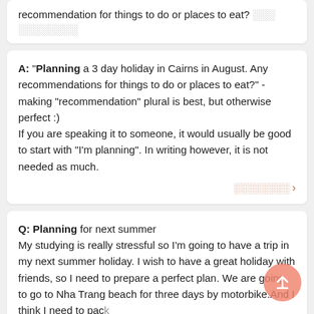recommendation for things to do or places to eat? [corrupted] [corrupted]
A: "Planning a 3 day holiday in Cairns in August. Any recommendations for things to do or places to eat?" - making "recommendation" plural is best, but otherwise perfect :)
If you are speaking it to someone, it would usually be good to start with "I'm planning". In writing however, it is not needed as much.
[corrupted] >
Q: Planning for next summer
My studying is really stressful so I'm going to have a trip in my next summer holiday. I wish to have a great holiday with friends, so I need to prepare a perfect plan. We are going to go to Nha Trang beach for three days by motorbike.And I think I need to pack some T-shirts,swimming trunks and a jacket because it might be cooler at night.Our trip will start from Ho Chi Minh city and...